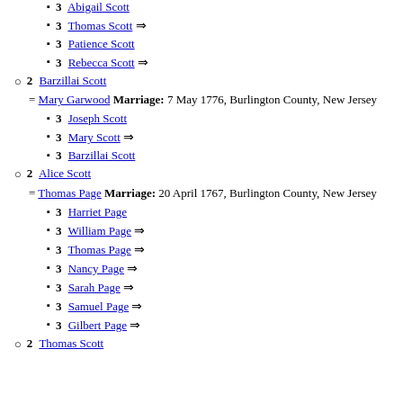3 Ann Scott
3 Abigail Scott
3 Thomas Scott ⇒
3 Patience Scott
3 Rebecca Scott ⇒
2 Barzillai Scott = Mary Garwood Marriage: 7 May 1776, Burlington County, New Jersey
3 Joseph Scott
3 Mary Scott ⇒
3 Barzillai Scott
2 Alice Scott = Thomas Page Marriage: 20 April 1767, Burlington County, New Jersey
3 Harriet Page
3 William Page ⇒
3 Thomas Page ⇒
3 Nancy Page ⇒
3 Sarah Page ⇒
3 Samuel Page ⇒
3 Gilbert Page ⇒
2 Thomas Scott